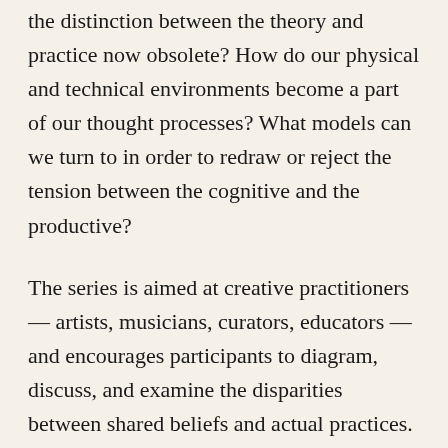the distinction between the theory and practice now obsolete? How do our physical and technical environments become a part of our thought processes? What models can we turn to in order to redraw or reject the tension between the cognitive and the productive?
The series is aimed at creative practitioners — artists, musicians, curators, educators — and encourages participants to diagram, discuss, and examine the disparities between shared beliefs and actual practices.
The series will consist of three sessions taking place in BEK on 8, 13, and 16 November 2021. It is